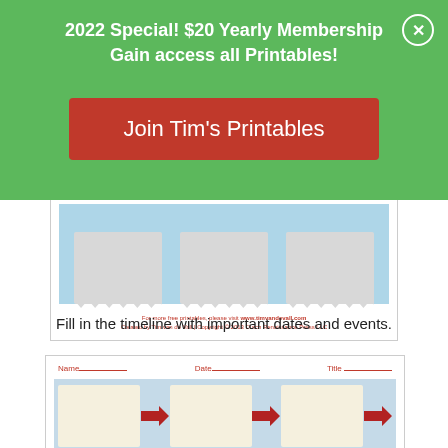2022 Special! $20 Yearly Membership
Gain access all Printables!
Join Tim's Printables
[Figure (illustration): Preview of printable worksheet with three torn-paper style cards on a blue background]
For more free printables, please visit www.timvandevall.com
Created by Tim van de Vall | Copyright © 2013 Dutch Renaissance Press LLC
Fill in the timeline with important dates and events.
[Figure (illustration): Timeline worksheet with Name, Date, Title fields and three beige cards connected by red arrows]